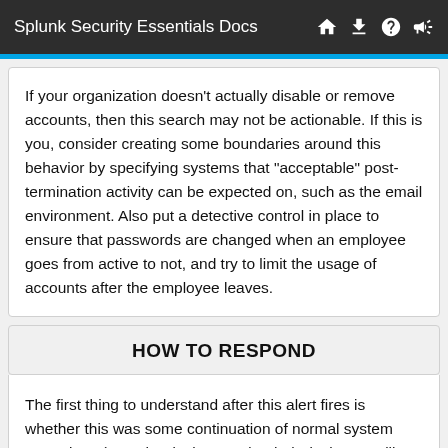Splunk Security Essentials Docs
If your organization doesn't actually disable or remove accounts, then this search may not be actionable. If this is you, consider creating some boundaries around this behavior by specifying systems that "acceptable" post-termination activity can be expected on, such as the email environment. Also put a detective control in place to ensure that passwords are changed when an employee goes from active to not, and try to limit the usage of accounts after the employee leaves.
HOW TO RESPOND
The first thing to understand after this alert fires is whether this was some continuation of normal system operations (e.g., the desktop under their desk was still logged in, or